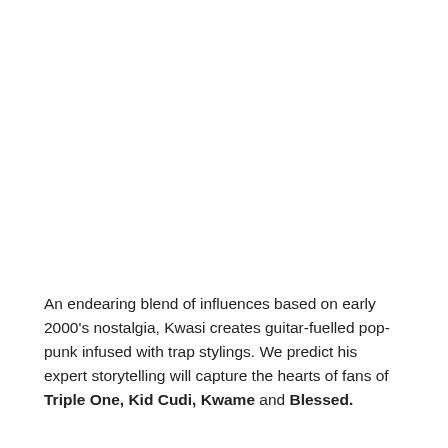An endearing blend of influences based on early 2000's nostalgia, Kwasi creates guitar-fuelled pop-punk infused with trap stylings. We predict his expert storytelling will capture the hearts of fans of Triple One, Kid Cudi, Kwame and Blessed.